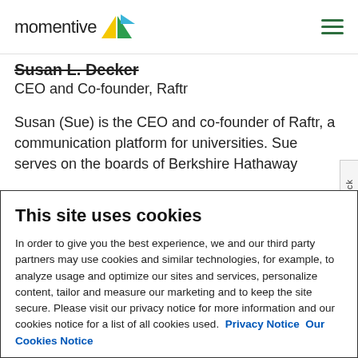momentive [logo]
Susan L. Decker
CEO and Co-founder, Raftr
Susan (Sue) is the CEO and co-founder of Raftr, a communication platform for universities. Sue serves on the boards of Berkshire Hathaway
This site uses cookies
In order to give you the best experience, we and our third party partners may use cookies and similar technologies, for example, to analyze usage and optimize our sites and services, personalize content, tailor and measure our marketing and to keep the site secure. Please visit our privacy notice for more information and our cookies notice for a list of all cookies used. Privacy Notice Our Cookies Notice